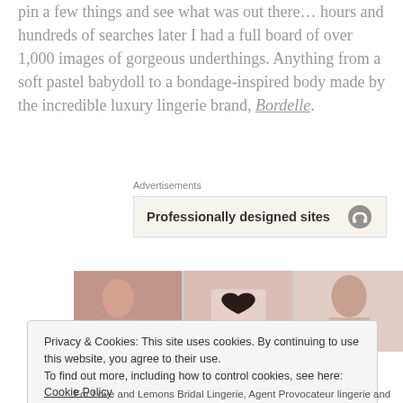pin a few things and see what was out there… hours and hundreds of searches later I had a full board of over 1,000 images of gorgeous underthings. Anything from a soft pastel babydoll to a bondage-inspired body made by the incredible luxury lingerie brand, Bordelle.
Advertisements
[Figure (screenshot): Advertisement banner showing 'Professionally designed sites' with a headphone icon on a cream background]
[Figure (photo): Three-panel photo strip showing lingerie-themed images: a woman, a pink bag with black bow ribbon, and a woman's portrait]
Privacy & Cookies: This site uses cookies. By continuing to use this website, you agree to their use.
To find out more, including how to control cookies, see here: Cookie Policy
Close and accept
For Love and Lemons Bridal Lingerie, Agent Provocateur lingerie and